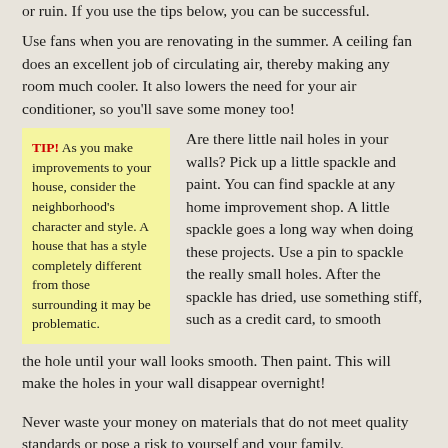or ruin. If you use the tips below, you can be successful.
Use fans when you are renovating in the summer. A ceiling fan does an excellent job of circulating air, thereby making any room much cooler. It also lowers the need for your air conditioner, so you’ll save some money too!
TIP! As you make improvements to your house, consider the neighborhood’s character and style. A house that has a style completely different from those surrounding it may be problematic.
Are there little nail holes in your walls? Pick up a little spackle and paint. You can find spackle at any home improvement shop. A little spackle goes a long way when doing these projects. Use a pin to spackle the really small holes. After the spackle has dried, use something stiff, such as a credit card, to smooth the hole until your wall looks smooth. Then paint. This will make the holes in your wall disappear overnight!
Never waste your money on materials that do not meet quality standards or pose a risk to yourself and your family.